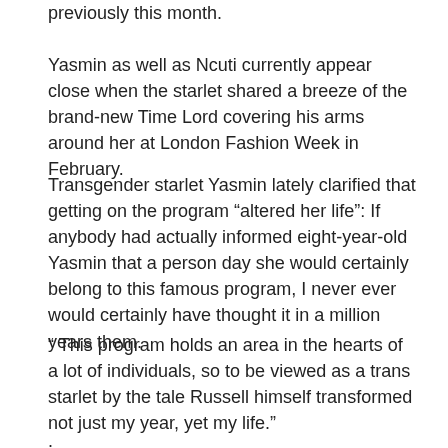previously this month.
Yasmin as well as Ncuti currently appear close when the starlet shared a breeze of the brand-new Time Lord covering his arms around her at London Fashion Week in February.
Transgender starlet Yasmin lately clarified that getting on the program “altered her life”: If anybody had actually informed eight-year-old Yasmin that a person day she would certainly belong to this famous program, I never ever would certainly have thought it in a million years them.
“ This program holds an area in the hearts of a lot of individuals, so to be viewed as a trans starlet by the tale Russell himself transformed not just my year, yet my life.”
.